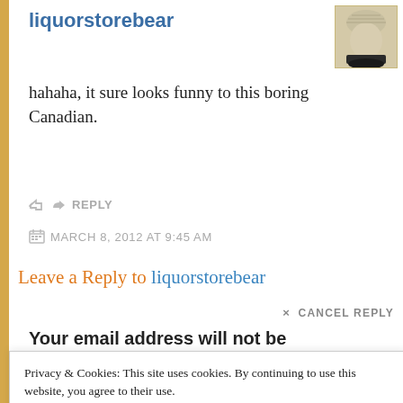liquorstorebear
[Figure (photo): Small avatar photo of a person wearing a light-colored knit hat, cream/tan colors, partial face visible]
hahaha, it sure looks funny to this boring Canadian.
↪ REPLY
📅 MARCH 8, 2012 AT 9:45 AM
Leave a Reply to liquorstorebear
× CANCEL REPLY
Your email address will not be
Privacy & Cookies: This site uses cookies. By continuing to use this website, you agree to their use.
To find out more, including how to control cookies, see here: Cookie Policy
Close and accept